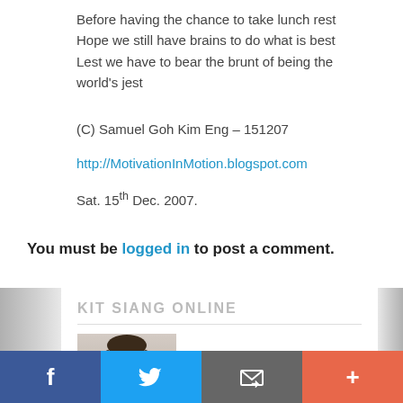Before having the chance to take lunch rest
Hope we still have brains to do what is best
Lest we have to bear the brunt of being the world's jest
(C) Samuel Goh Kim Eng – 151207
http://MotivationInMotion.blogspot.com
Sat. 15th Dec. 2007.
You must be logged in to post a comment.
KIT SIANG ONLINE
[Figure (photo): Photo of a man wearing glasses, cropped headshot]
f  [Twitter bird]  [email icon]  +